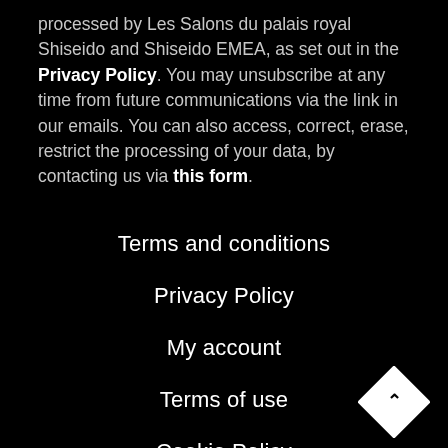processed by Les Salons du palais royal Shiseido and Shiseido EMEA, as set out in the Privacy Policy. You may unsubscribe at any time from future communications via the link in our emails. You can also access, correct, erase, restrict the processing of your data, by contacting us via this form.
Terms and conditions
Privacy Policy
My account
Terms of use
Cookie Policy
Contact Us
Return Requests
US ($)